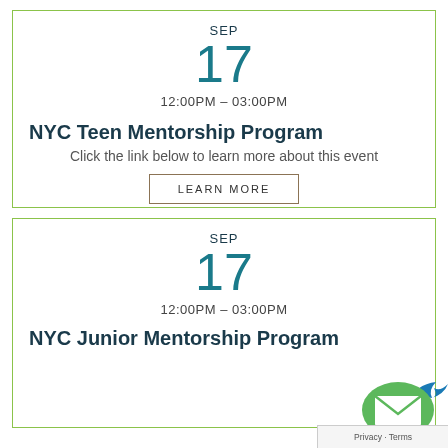SEP
17
12:00PM – 03:00PM
NYC Teen Mentorship Program
Click the link below to learn more about this event
LEARN MORE
SEP
17
12:00PM – 03:00PM
NYC Junior Mentorship Program